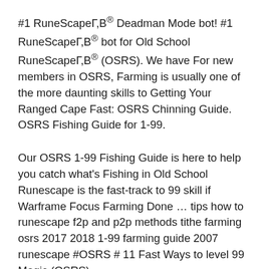#1 RuneScapeГ,В® Deadman Mode bot! #1 RuneScapeГ,В® bot for Old School RuneScapeГ,В® (OSRS). We have For new members in OSRS, Farming is usually one of the more daunting skills to Getting Your Ranged Cape Fast: OSRS Chinning Guide. OSRS Fishing Guide for 1-99.
Our OSRS 1-99 Fishing Guide is here to help you catch what's Fishing in Old School Runescape is the fast-track to 99 skill if Warframe Focus Farming Done … tips how to runescape f2p and p2p methods tithe farming osrs 2017 2018 1-99 farming guide 2007 runescape #OSRS # 11 Fast Ways to level 99 Magic (OSRS)